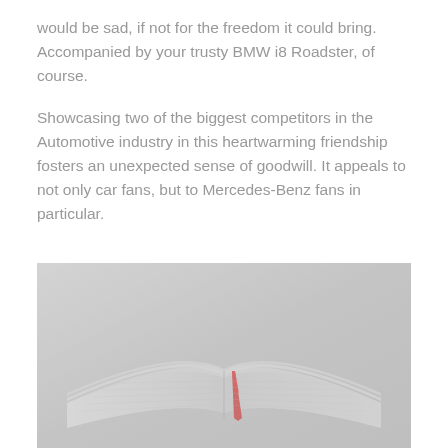would be sad, if not for the freedom it could bring. Accompanied by your trusty BMW i8 Roadster, of course.
Showcasing two of the biggest competitors in the Automotive industry in this heartwarming friendship fosters an unexpected sense of goodwill. It appeals to not only car fans, but to Mercedes-Benz fans in particular.
[Figure (photo): A faded/muted photograph of an open book with a red bookmark ribbon, shot from above at an angle, in low saturation greyish tones.]